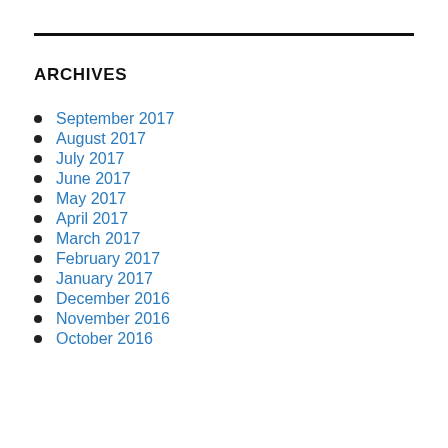ARCHIVES
September 2017
August 2017
July 2017
June 2017
May 2017
April 2017
March 2017
February 2017
January 2017
December 2016
November 2016
October 2016